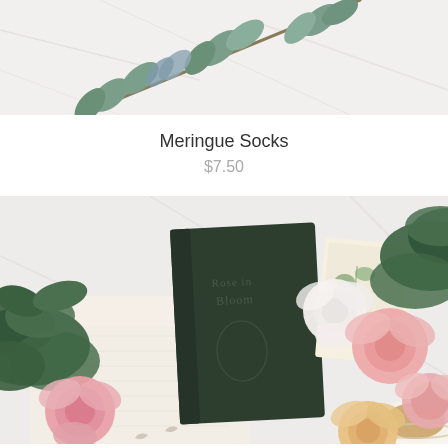[Figure (photo): Top portion of a styled flat-lay photo showing green eucalyptus stems on a white marble surface, partially cropped at top]
Meringue Socks
$7.50
[Figure (photo): Styled flat-lay photo on white marble surface featuring a dark green vintage book titled 'Rose in Bloom', surrounded by pink and white roses, green foliage, cream knitted socks, vintage postcards, and a floral tea cup]